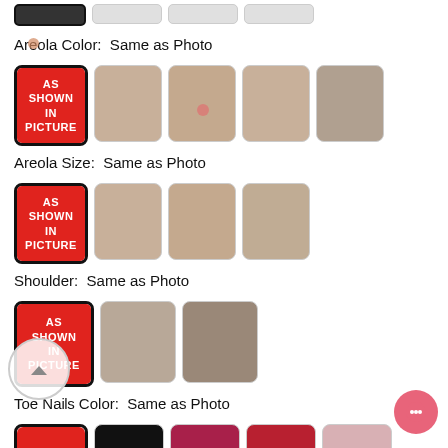Areola Color:  Same as Photo
[Figure (photo): Areola color selection row: AS SHOWN IN PICTURE (selected, red box), followed by 4 product option thumbnail photos]
Areola Size:  Same as Photo
[Figure (photo): Areola size selection row: AS SHOWN IN PICTURE (selected, red box), followed by 3 product option thumbnail photos]
Shoulder:  Same as Photo
[Figure (photo): Shoulder selection row: AS SHOWN IN PICTURE (selected, red box), followed by 2 product option thumbnail photos]
Toe Nails Color:  Same as Photo
[Figure (photo): Toe nails color selection row: AS SHOWN IN PICTURE (selected, red box, partially visible), followed by 4 color swatch thumbnails (black, pink, red, light pink)]